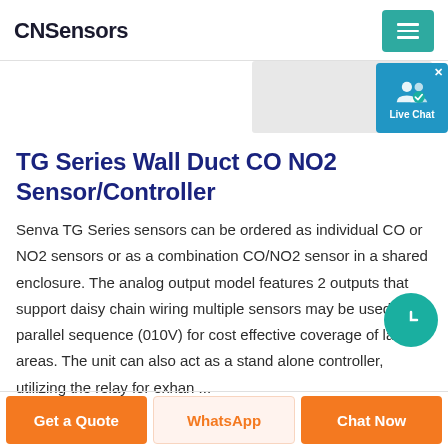CNSensors
TG Series Wall Duct CO NO2 Sensor/Controller
Senva TG Series sensors can be ordered as individual CO or NO2 sensors or as a combination CO/NO2 sensor in a shared enclosure. The analog output model features 2 outputs that support daisy chain wiring multiple sensors may be used in a parallel sequence (010V) for cost effective coverage of large areas. The unit can also act as a stand alone controller, utilizing the relay for exh…an …